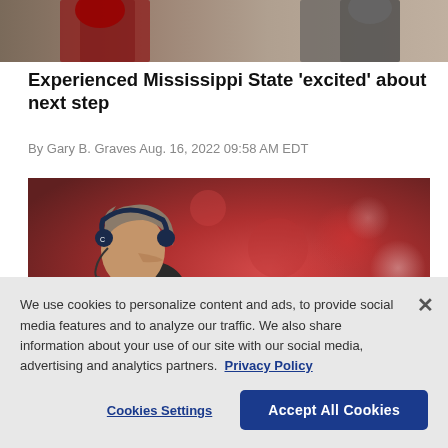[Figure (photo): Top portion of a sports photo showing football players in uniform]
Experienced Mississippi State 'excited' about next step
By Gary B. Graves Aug. 16, 2022 09:58 AM EDT
[Figure (photo): Side profile of a football coach wearing headphones on the sideline with a blurred crowd in background]
We use cookies to personalize content and ads, to provide social media features and to analyze our traffic. We also share information about your use of our site with our social media, advertising and analytics partners. Privacy Policy
Cookies Settings  Accept All Cookies